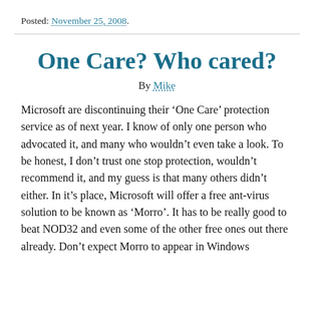Posted: November 25, 2008.
One Care? Who cared?
By Mike
Microsoft are discontinuing their ‘One Care’ protection service as of next year. I know of only one person who advocated it, and many who wouldn’t even take a look. To be honest, I don’t trust one stop protection, wouldn’t recommend it, and my guess is that many others didn’t either. In it’s place, Microsoft will offer a free ant-virus solution to be known as ‘Morro’. It has to be really good to beat NOD32 and even some of the other free ones out there already. Don’t expect Morro to appear in Windows